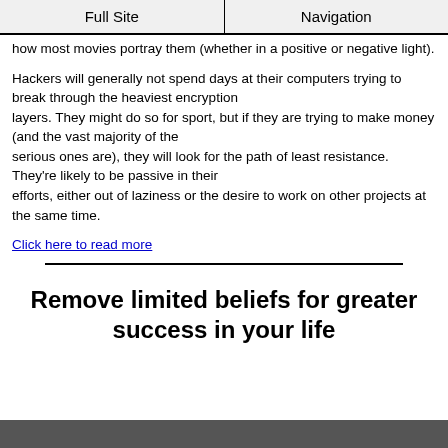Full Site | Navigation
how most movies portray them (whether in a positive or negative light).
Hackers will generally not spend days at their computers trying to break through the heaviest encryption layers. They might do so for sport, but if they are trying to make money (and the vast majority of the serious ones are), they will look for the path of least resistance. They're likely to be passive in their efforts, either out of laziness or the desire to work on other projects at the same time.
Click here to read more
Remove limited beliefs for greater success in your life